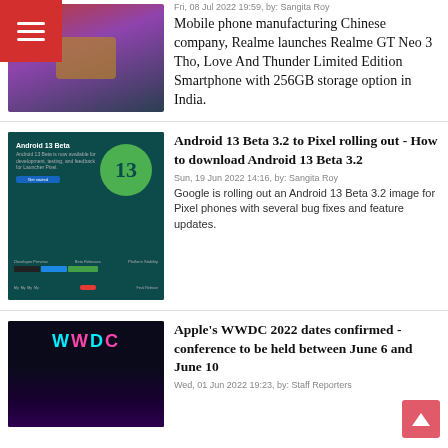[Figure (photo): Thumbnail image for Realme GT Neo 3 article — colorful gradient background with gold box element]
Fri, 08 Jul 2022 19:59, by: Sangita Roy
Mobile phone manufacturing Chinese company, Realme launches Realme GT Neo 3 Tho, Love And Thunder Limited Edition Smartphone with 256GB storage option in India.
[Figure (screenshot): Android 13 Beta promotional image — dark teal background with large green badge showing number 13, developer preview progress bars]
Android 13 Beta 3.2 to Pixel rolling out - How to download Android 13 Beta 3.2
Sun, 19 Jun 2022 14:16, by: Sangita Roy
Google is rolling out an Android 13 Beta 3.2 image for Pixel phones with several bug fixes and feature updates.
[Figure (photo): Apple WWDC 2022 thumbnail — dark background with WWDC logo text and colorful figure]
Apple's WWDC 2022 dates confirmed - conference to be held between June 6 and June 10
Wed, 01 Jun 2022 19:23, by: Staff Reporters